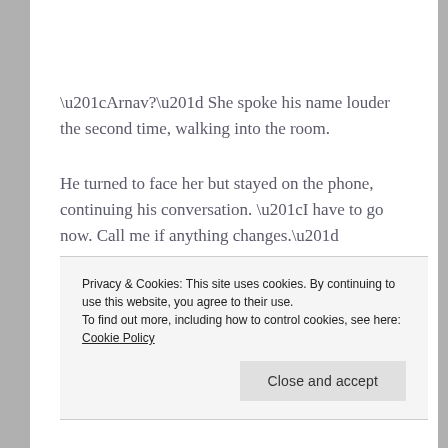“Arnav?” She spoke his name louder the second time, walking into the room.
He turned to face her but stayed on the phone, continuing his conversation. “I have to go now. Call me if anything changes.”
Privacy & Cookies: This site uses cookies. By continuing to use this website, you agree to their use.
To find out more, including how to control cookies, see here: Cookie Policy
Close and accept